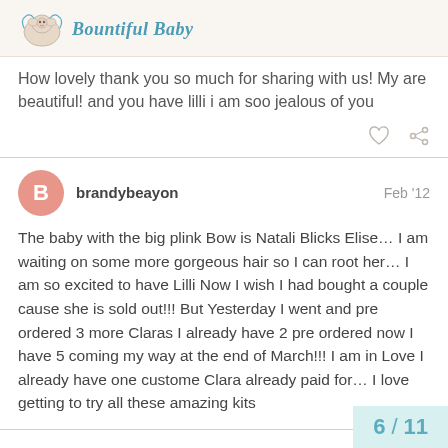Bountiful Baby
How lovely thank you so much for sharing with us! My are beautiful! and you have lilli i am soo jealous of you
brandybeayon   Feb '12
The baby with the big plink Bow is Natali Blicks Elise… I am waiting on some more gorgeous hair so I can root her… I am so excited to have Lilli Now I wish I had bought a couple cause she is sold out!!! But Yesterday I went and pre ordered 3 more Claras I already have 2 pre ordered now I have 5 coming my way at the end of March!!! I am in Love I already have one custome Clara already paid for… I love getting to try all these amazing kits
6 / 11